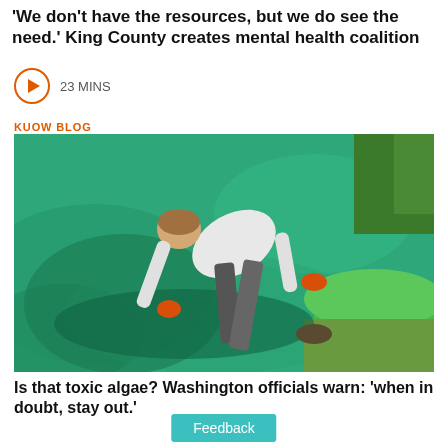'We don't have the resources, but we do see the need.' King County creates mental health coalition
23 MINS
KUOW BLOG
[Figure (photo): A person wearing orange gloves bending over bright green algae-covered water near a grassy bank]
Is that toxic algae? Washington officials warn: 'when in doubt, stay out.'
Feedback